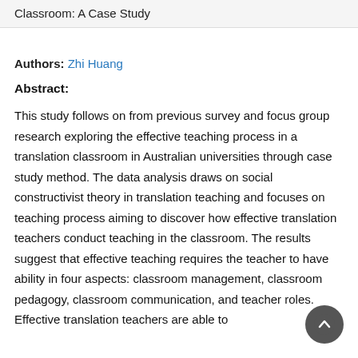Classroom: A Case Study
Authors: Zhi Huang
Abstract:
This study follows on from previous survey and focus group research exploring the effective teaching process in a translation classroom in Australian universities through case study method. The data analysis draws on social constructivist theory in translation teaching and focuses on teaching process aiming to discover how effective translation teachers conduct teaching in the classroom. The results suggest that effective teaching requires the teacher to have ability in four aspects: classroom management, classroom pedagogy, classroom communication, and teacher roles. Effective translation teachers are able to control their behaviours as a way of facilitating...